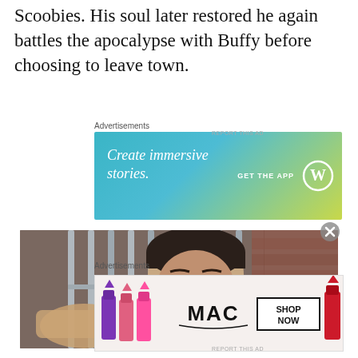Scoobies. His soul later restored he again battles the apocalypse with Buffy before choosing to leave town.
Advertisements
[Figure (screenshot): WordPress advertisement banner with gradient teal-to-yellow background reading 'Create immersive stories.' with 'GET THE APP' text and WordPress logo on the right.]
[Figure (photo): A man with dark hair looking through metal bars, appearing to be in a jail cell or cage scene, with brick wall visible in background.]
Advertisements
[Figure (screenshot): MAC Cosmetics advertisement showing colorful lipsticks on the left, MAC logo in center, and 'SHOP NOW' button on the right with red lipstick.]